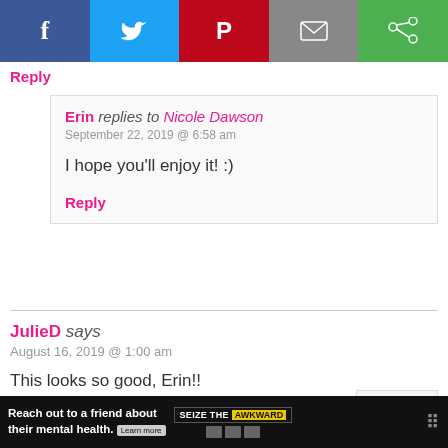[Figure (screenshot): Social media share buttons: Facebook (blue), Twitter (light blue), Pinterest (red), Email (gray), and a green share icon]
Reply
Erin replies to Nicole Dawson
September 22, 2019 @ 6:58 am

I hope you'll enjoy it! :)

Reply
JulieD says
August 16, 2019 @ 1:00 am

This looks so good, Erin!!

Reply
Scroll to top
Reach out to a friend about their mental health. Learn more SEIZE THE AWKWARD